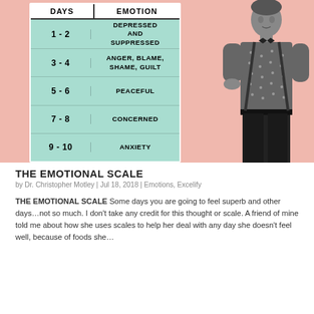[Figure (infographic): Infographic titled 'Days / Emotion' showing an emotional scale table with days 1-2: Depressed and Suppressed, 3-4: Anger, Blame, Shame, Guilt, 5-6: Peaceful, 7-8: Concerned, 9-10: Anxiety. A black and white photo of a man in a patterned shirt stands to the right of the table, against a peach/salmon background.]
THE EMOTIONAL SCALE
by Dr. Christopher Motley | Jul 18, 2018 | Emotions, Excelify
THE EMOTIONAL SCALE Some days you are going to feel superb and other days...not so much. I don't take any credit for this thought or scale. A friend of mine told me about how she uses scales to help her deal with any day she doesn't feel well, because of foods she...